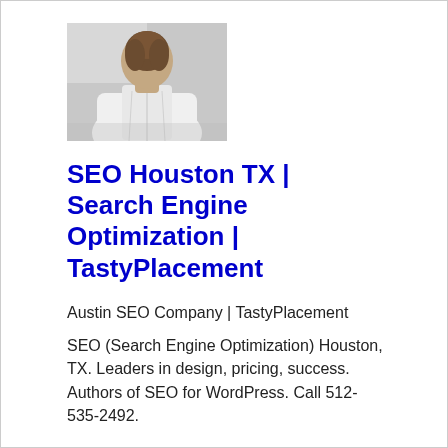[Figure (photo): Person seen from behind wearing a white dress shirt, against a light grey background]
SEO Houston TX | Search Engine Optimization | TastyPlacement
Austin SEO Company | TastyPlacement
SEO (Search Engine Optimization) Houston, TX. Leaders in design, pricing, success. Authors of SEO for WordPress. Call 512-535-2492.